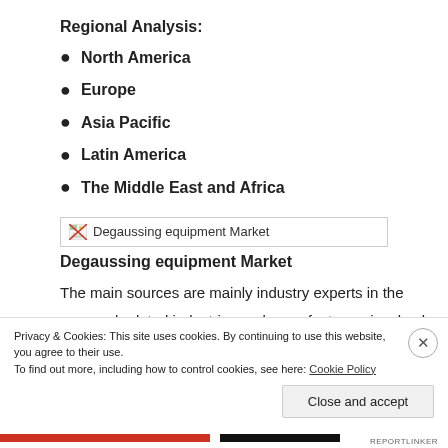Regional Analysis:
North America
Europe
Asia Pacific
Latin America
The Middle East and Africa
[Figure (illustration): Broken image icon for Degaussing equipment Market]
Degaussing equipment Market
The main sources are mainly industry experts in the core and related industries and manufacturers involved in all sectors of the industry supply chain.
Privacy & Cookies: This site uses cookies. By continuing to use this website, you agree to their use.
To find out more, including how to control cookies, see here: Cookie Policy